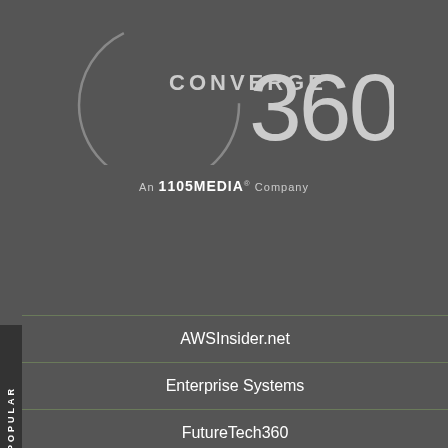[Figure (logo): Converge 360 logo with arc/circle graphic and large '360' numeral]
An 1105 MEDIA® Company
AWSInsider.net
Enterprise Systems
FutureTech360
Live! 360
MCPmag.com